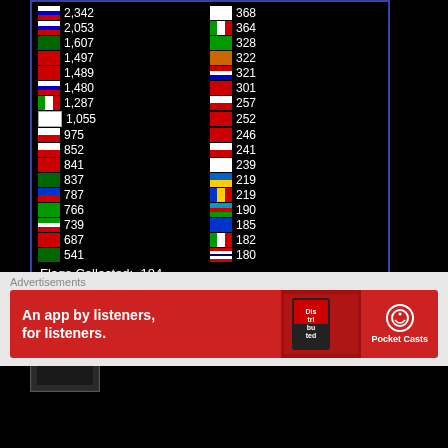[Figure (table-as-image): Flag Counter widget showing country visitor counts in two columns, with flag icons and numbers. Left column includes entries like 2,342; 2,053; 1,607; 1,497; 1,489; 1,480; 1,287; 1,055; 975; 852; 841; 837; 787; 766; 739; 687; 541. Right column includes 368; 364; 328; 322; 321; 301; 257; 252; 246; 241; 239; 219; 219; 190; 185; 182; 180. Flags Collected: 184. Shows FLAG counter branding at bottom.]
TOP REVIEWS
Dracula Untold
[Figure (screenshot): Pocket Casts advertisement banner. Red background with text: An app by listeners, for listeners. Shows Distributed app/book cover and Pocket Casts logo with headphone icon.]
Advertisements